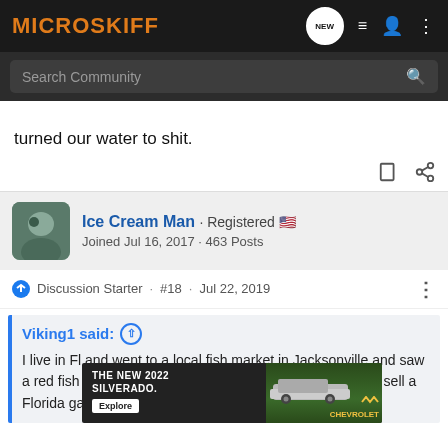MICROSKIFF
Search Community
turned our water to shit.
Ice Cream Man · Registered
Joined Jul 16, 2017 · 463 Posts
Discussion Starter · #18 · Jul 22, 2019
Viking1 said:
I live in Fl and went to a local fish market in Jacksonville and saw a red fish in the display. I asked the owner how they could sell a Florida game [fish]... they could s[ell it if]...